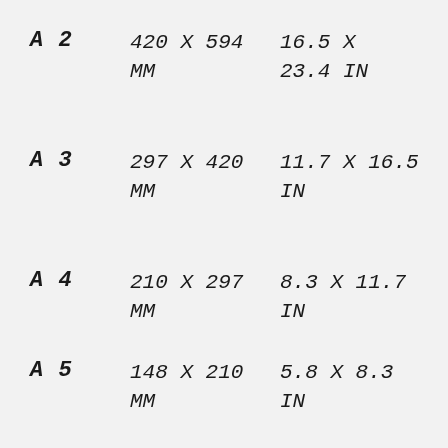| Size | MM | IN |
| --- | --- | --- |
| A2 | 420 X 594 MM | 16.5 X 23.4 IN |
| A3 | 297 X 420 MM | 11.7 X 16.5 IN |
| A4 | 210 X 297 MM | 8.3 X 11.7 IN |
| A5 | 148 X 210 MM | 5.8 X 8.3 IN |